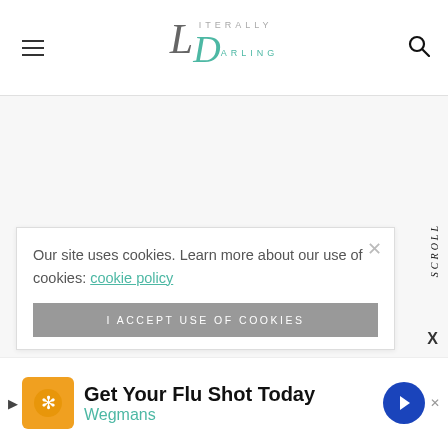Literally Darling
Our site uses cookies. Learn more about our use of cookies: cookie policy
I ACCEPT USE OF COOKIES
SCROLL
[Figure (screenshot): Advertisement banner: Get Your Flu Shot Today - Wegmans]
Get Your Flu Shot Today
Wegmans